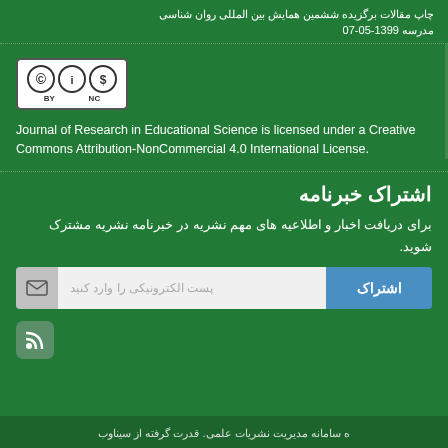چاپ مقالات برگزیده ششمین همایش بین المللی روان شناسی مدرسه 1399-05-07
[Figure (logo): Creative Commons BY-NC license logo]
Journal of Research in Educational Science is licensed under a Creative Commons Attribution-NonCommercial 4.0 International License.
اشتراک خبرنامه
برای دریافت اخبار و اطلاعیه های مهم نشریه در خبرنامه نشریه مشترک شوید.
اشتراک | پست الکترونیکی را وارد کنید
[Figure (logo): RSS feed icon]
ه سامانه مدیریت نشریات علمی. قدرت گرفته از سیناوب